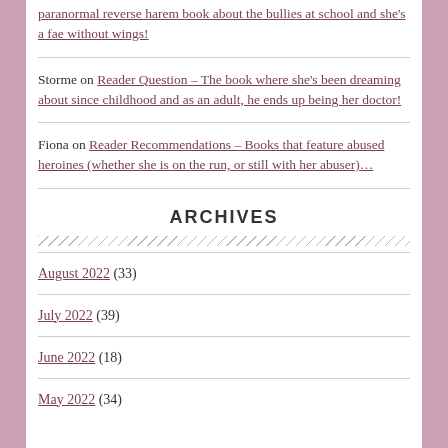paranormal reverse harem book about the bullies at school and she's a fae without wings!
Storme on Reader Question – The book where she's been dreaming about since childhood and as an adult, he ends up being her doctor!
Fiona on Reader Recommendations – Books that feature abused heroines (whether she is on the run, or still with her abuser)…
ARCHIVES
August 2022 (33)
July 2022 (39)
June 2022 (18)
May 2022 (34)